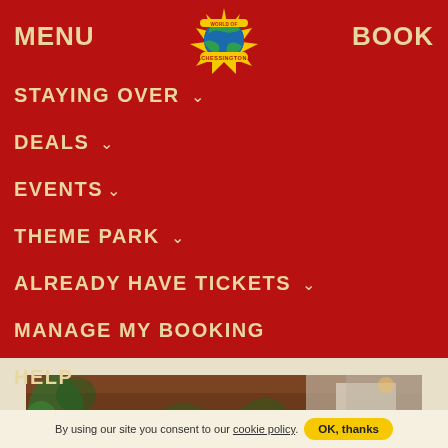MENU    [Chessington World of Adventure logo]    BOOK
STAYING OVER
DEALS
EVENTS
THEME PARK
ALREADY HAVE TICKETS
MANAGE MY BOOKING
HELP
[Figure (photo): Interior photo of a themed building with wooden walls and jungle/nature murals, warm lighting.]
By using our site you consent to our cookie policy.  OK, thanks